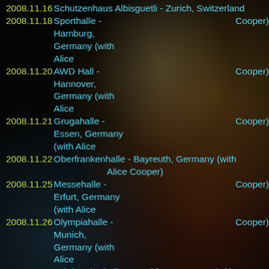2008.11.16 Schutzenhaus Albisguetli - Zurich, Switzerland
2008.11.18 Sporthalle - Hamburg, Germany (with Alice Cooper)
2008.11.20 AWD Hall - Hannover, Germany (with Alice Cooper)
2008.11.21 Grugahalle - Essen, Germany (with Alice Cooper)
2008.11.22 Oberfrankenhalle - Bayreuth, Germany (with Alice Cooper)
2008.11.25 Messehalle - Erfurt, Germany (with Alice Cooper)
2008.11.26 Olympiahalle - Munich, Germany (with Alice Cooper)
2008.11.28 Jahrhunderthalle - Frankfurt, Germany (with Alice Cooper)
2008.11.29 Porsche Arena - Stuttgart, Germany (with Alice Cooper)
2008.12.01 Max-Schmelinghalle - Berlin, Germany (with Alice Cooper)
2008.12.02 Stodola - Warsaw, Poland